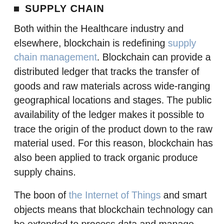SUPPLY CHAIN
Both within the Healthcare industry and elsewhere, blockchain is redefining supply chain management. Blockchain can provide a distributed ledger that tracks the transfer of goods and raw materials across wide-ranging geographical locations and stages. The public availability of the ledger makes it possible to trace the origin of the product down to the raw material used. For this reason, blockchain has also been applied to track organic produce supply chains.
The boon of the Internet of Things and smart objects means that blockchain technology can be extended to process data and manage smart contracts between individuals and their smart devices or even smart homes. Imagine a world